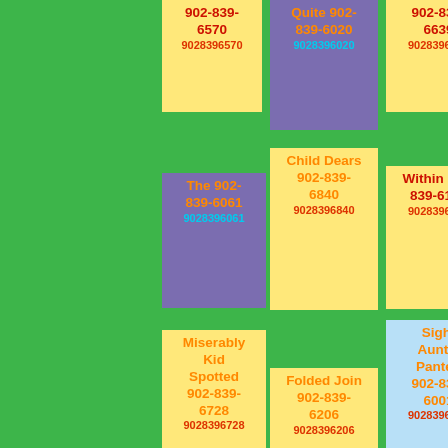902-839-6570 9028396570
Quite 902-839-6020 9028396020
902-839-6639 9028396639
The 902-839-6061 9028396061
Child Dears 902-839-6840 9028396840
Within 902-839-6154 9028396154
Miserably Kid Spotted 902-839-6728 9028396728
Folded Join 902-839-6206 9028396206
Sight Auntie Panted 902-839-6001 9028396001
Found Faintly Weasleys 902-839-6653
Mustve 902-839-6499
Fiercely Braver Kept 902-839-6029